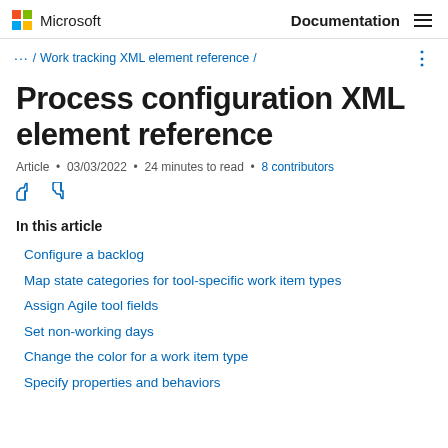Microsoft | Documentation
... / Work tracking XML element reference /
Process configuration XML element reference
Article • 03/03/2022 • 24 minutes to read • 8 contributors
In this article
Configure a backlog
Map state categories for tool-specific work item types
Assign Agile tool fields
Set non-working days
Change the color for a work item type
Specify properties and behaviors